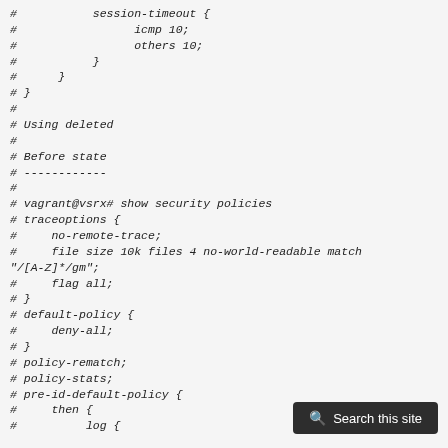#           session-timeout {
#                 icmp 10;
#                 others 10;
#           }
#      }
# }
#
# Using deleted
#
# Before state
# ------------
#
# vagrant@vsrx# show security policies
# traceoptions {
#     no-remote-trace;
#     file size 10k files 4 no-world-readable match "/[A-Z]*/gm";
#     flag all;
# }
# default-policy {
#     deny-all;
# }
# policy-rematch;
# policy-stats;
# pre-id-default-policy {
#     then {
#          log {
[Figure (screenshot): Search this site button overlay in bottom right corner]